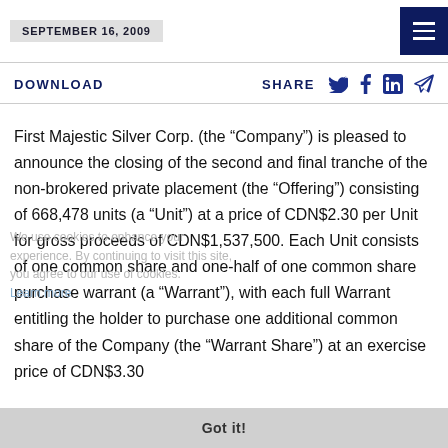SEPTEMBER 16, 2009
DOWNLOAD   SHARE
First Majestic Silver Corp. (the “Company”) is pleased to announce the closing of the second and final tranche of the non-brokered private placement (the “Offering”) consisting of 668,478 units (a “Unit”) at a price of CDN$2.30 per Unit for gross proceeds of CDN$1,537,500. Each Unit consists of one common share and one-half of one common share purchase warrant (a “Warrant”), with each full Warrant entitling the holder to purchase one additional common share of the Company (the “Warrant Share”) at an exercise price of CDN$3.30